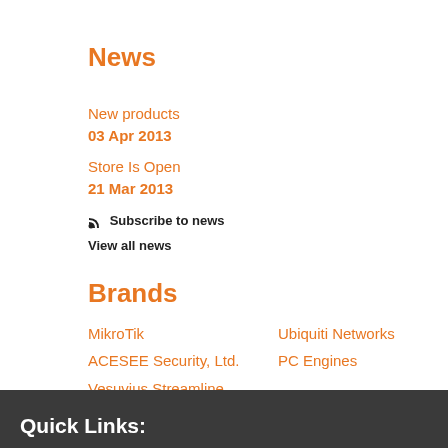News
New products
03 Apr 2013
Store Is Open
21 Mar 2013
Subscribe to news
View all news
Brands
MikroTik
Ubiquiti Networks
ACESEE Security, Ltd.
PC Engines
Vesuvius Streamline
View all
Quick Links: